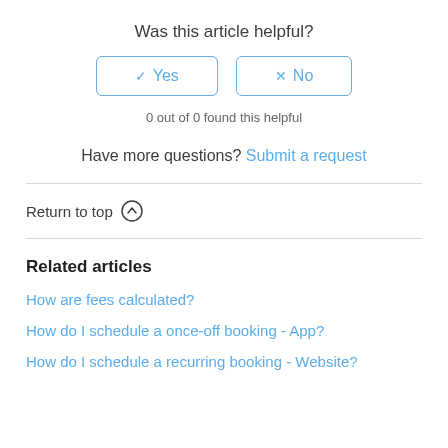Was this article helpful?
Yes  No
0 out of 0 found this helpful
Have more questions? Submit a request
Return to top
Related articles
How are fees calculated?
How do I schedule a once-off booking - App?
How do I schedule a recurring booking - Website?